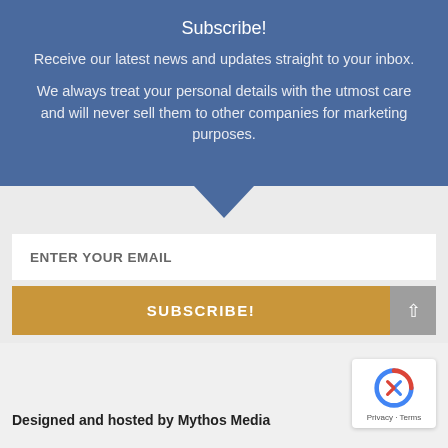Subscribe!
Receive our latest news and updates straight to your inbox.
We always treat your personal details with the utmost care and will never sell them to other companies for marketing purposes.
ENTER YOUR EMAIL
SUBSCRIBE!
Designed and hosted by Mythos Media